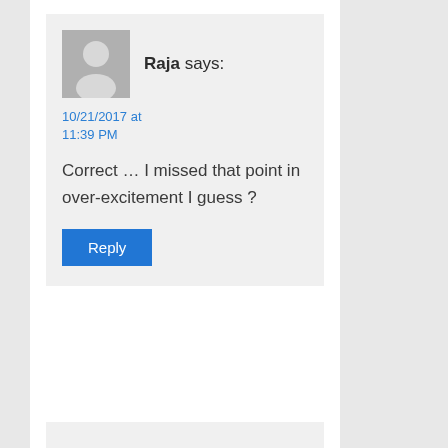Raja says:
10/21/2017 at 11:39 PM
Correct … I missed that point in over-excitement I guess ?
Reply